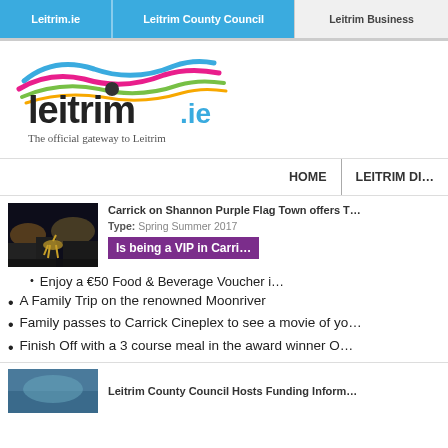Leitrim.ie | Leitrim County Council | Leitrim Business
[Figure (logo): Leitrim.ie logo with colorful wave swooshes above text]
The official gateway to Leitrim
HOME | LEITRIM DI...
Carrick on Shannon Purple Flag Town offers T...
Type: Spring Summer 2017
[Figure (photo): Night street scene with illuminated horse sculpture]
Is being a VIP in Carri...
Enjoy a €50 Food & Beverage Voucher i...
A Family Trip on the renowned Moonriver
Family passes to Carrick Cineplex to see a movie of yo...
Finish Off with a 3 course meal in the award winner O...
Leitrim County Council Hosts Funding Inform...